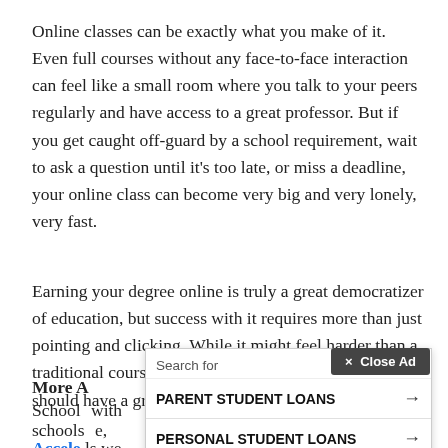Online classes can be exactly what you make of it. Even full courses without any face-to-face interaction can feel like a small room where you talk to your peers regularly and have access to a great professor. But if you get caught off-guard by a school requirement, wait to ask a question until it's too late, or miss a deadline, your online class can become very big and very lonely, very fast.
Earning your degree online is truly a great democratizer of education, but success with it requires more than just pointing and clicking. While it might feel harder than a traditional course at first, if you follow this advice, you should have a great experience and result.
More A...
School ... with
schools ... e,
Accele ... ls we
[Figure (other): Advertisement overlay with 'x Close Ad' button, a search bar with eye icon, two ad rows: 'PARENT STUDENT LOANS' and 'PERSONAL STUDENT LOANS' each with an arrow, and a footer with 'Ad | Business Focus' and a play icon.]